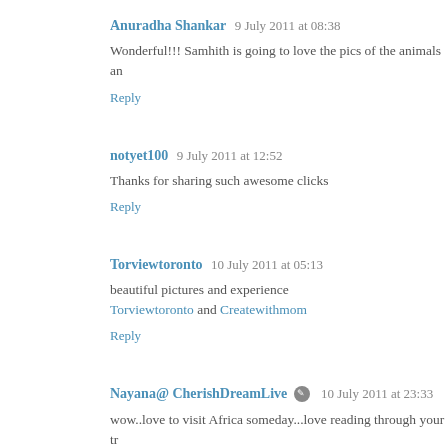Anuradha Shankar  9 July 2011 at 08:38
Wonderful!!! Samhith is going to love the pics of the animals an
Reply
notyet100  9 July 2011 at 12:52
Thanks for sharing such awesome clicks
Reply
Torviewtoronto  10 July 2011 at 05:13
beautiful pictures and experience Torviewtoronto and Createwithmom
Reply
Nayana@ CherishDreamLive  10 July 2011 at 23:33
wow..love to visit Africa someday...love reading through your tr
Reply